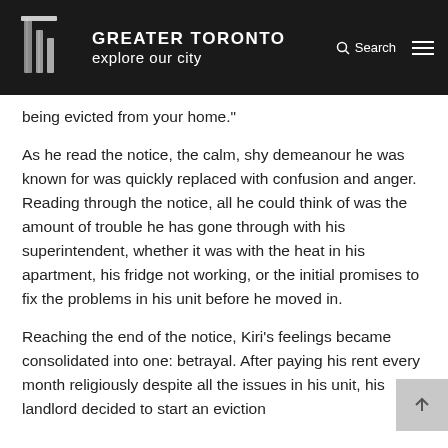GREATER TORONTO explore our city
being evicted from your home."
As he read the notice, the calm, shy demeanour he was known for was quickly replaced with confusion and anger. Reading through the notice, all he could think of was the amount of trouble he has gone through with his superintendent, whether it was with the heat in his apartment, his fridge not working, or the initial promises to fix the problems in his unit before he moved in.
Reaching the end of the notice, Kiri's feelings became consolidated into one: betrayal. After paying his rent every month religiously despite all the issues in his unit, his landlord decided to start an eviction